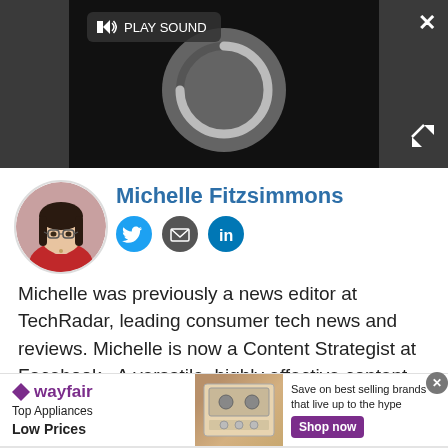[Figure (screenshot): Video player with dark background showing a Chrome loading spinner, a 'PLAY SOUND' button with speaker icon, a close X button, and an expand icon.]
Michelle Fitzsimmons
[Figure (photo): Circular avatar photo of Michelle Fitzsimmons, a woman with glasses and dark hair, wearing a red jacket.]
[Figure (other): Social media icons: Twitter (blue bird), Email (grey envelope), LinkedIn (blue 'in').]
Michelle was previously a news editor at TechRadar, leading consumer tech news and reviews. Michelle is now a Content Strategist at Facebook.  A versatile, highly effective content writer and skilled editor with a keen eye for detail,
[Figure (other): Wayfair advertisement banner: 'Top Appliances Low Prices', image of a stove/range, 'Save on best selling brands that live up to the hype', 'Shop now' purple button.]